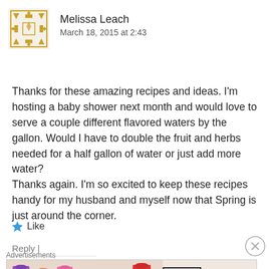[Figure (illustration): User avatar: geometric/ethnic pattern square icon in gold/yellow tones]
Melissa Leach
March 18, 2015 at 2:43
Thanks for these amazing recipes and ideas. I'm hosting a baby shower next month and would love to serve a couple different flavored waters by the gallon. Would I have to double the fruit and herbs needed for a half gallon of water or just add more water?
Thanks again. I'm so excited to keep these recipes handy for my husband and myself now that Spring is just around the corner.
★ Like
Reply |
Advertisements
[Figure (photo): MAC cosmetics advertisement showing lipsticks in purple, peach, pink, red colors with M·A·C logo and 'SHOP NOW' button]